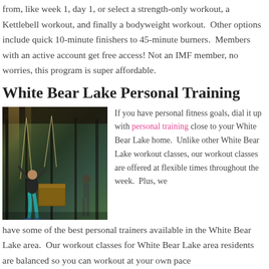from, like week 1, day 1, or select a strength-only workout, a Kettlebell workout, and finally a bodyweight workout.  Other options include quick 10-minute finishers to 45-minute burners.  Members with an active account get free access! Not an IMF member, no worries, this program is super affordable.
White Bear Lake Personal Training
[Figure (photo): A gym interior showing people working out with TRX straps and equipment, including a person in teal leggings doing an exercise near a wooden box.]
If you have personal fitness goals, dial it up with personal training close to your White Bear Lake home.  Unlike other White Bear Lake workout classes, our workout classes are offered at flexible times throughout the week.  Plus, we have some of the best personal trainers available in the White Bear Lake area.  Our workout classes for White Bear Lake area residents are balanced so you can workout at your own pace